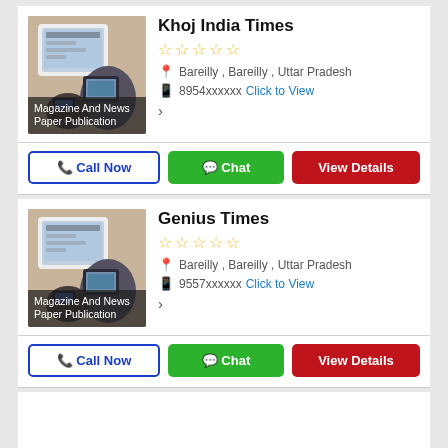Khoj India Times
☆☆☆☆☆
Bareilly , Bareilly , Uttar Pradesh
8954xxxxxx  Click to View
[Figure (photo): Person using tablet and phone, Magazine And News Paper Publication]
Call Now  Chat  View Details
Genius Times
☆☆☆☆☆
Bareilly , Bareilly , Uttar Pradesh
9557xxxxxx  Click to View
[Figure (photo): Person using tablet and phone, Magazine And News Paper Publication]
Call Now  Chat  View Details